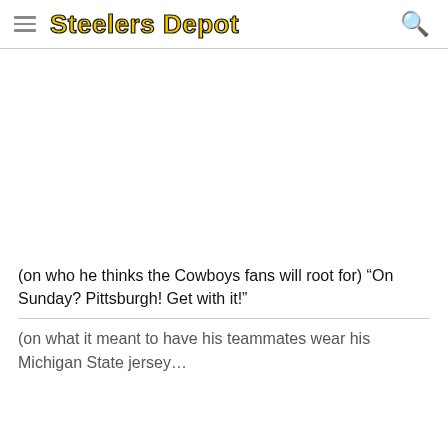Steelers Depot
[Figure (other): Advertisement or blank area]
(on who he thinks the Cowboys fans will root for) “On Sunday? Pittsburgh! Get with it!”
(on what it meant to have his teammates wear his Michigan State jersey…)